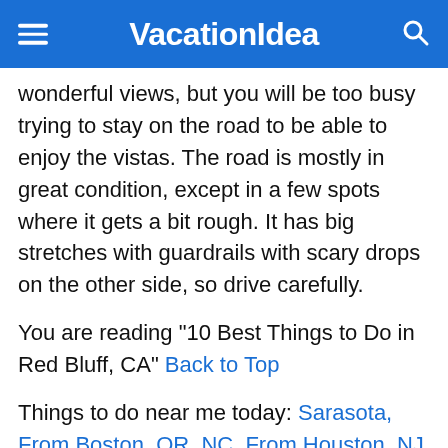VacationIdea
wonderful views, but you will be too busy trying to stay on the road to be able to enjoy the vistas. The road is mostly in great condition, except in a few spots where it gets a bit rough. It has big stretches with guardrails with scary drops on the other side, so drive carefully.
You are reading "10 Best Things to Do in Red Bluff, CA" Back to Top
Things to do near me today: Sarasota, From Boston, OR, NC, From Houston, NJ, GA